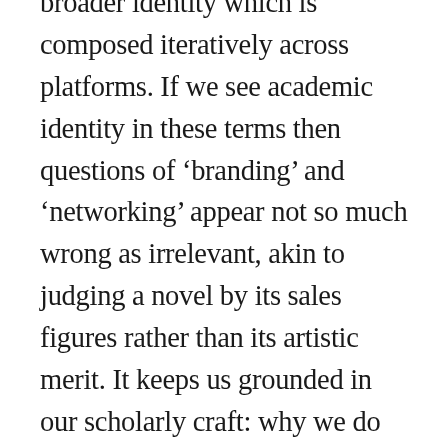broader identity which is composed iteratively across platforms. If we see academic identity in these terms then questions of ‘branding’ and ‘networking’ appear not so much wrong as irrelevant, akin to judging a novel by its sales figures rather than its artistic merit. It keeps us grounded in our scholarly craft: why we do what we do, why it matters to us, what we hope to achieve. This has always been at the root of academic identity and if we can remain connected to it, we’ll be in a strong position to use social media in a way that is rewarding and